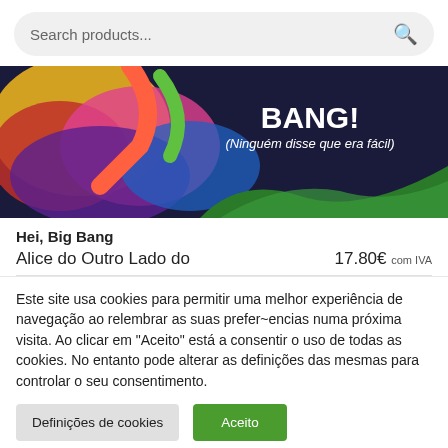Search products...
[Figure (illustration): Colorful abstract banner with text 'BANG! (Ninguém disse que era fácil)' on a dark green right side with colorful abstract shapes on the left.]
Hei, Big Bang
Alice do Outro Lado do   17.80€ com IVA
Este site usa cookies para permitir uma melhor experiência de navegação ao relembrar as suas prefer~encias numa próxima visita. Ao clicar em "Aceito" está a consentir o uso de todas as cookies. No entanto pode alterar as definições das mesmas para controlar o seu consentimento.
Definições de cookies
Aceito